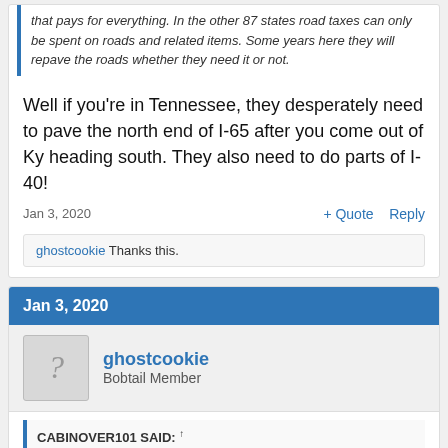that pays for everything. In the other 87 states road taxes can only be spent on roads and related items. Some years here they will repave the roads whether they need it or not.
Well if you're in Tennessee, they desperately need to pave the north end of I-65 after you come out of Ky heading south. They also need to do parts of I-40!
Jan 3, 2020
+ Quote  Reply
ghostcookie Thanks this.
Jan 3, 2020
ghostcookie
Bobtail Member
CABINOVER101 SAID: ↑
Well if you're in Tennessee, they desperately need to pave the north end of I-65 after you come out of Ky heading south. They